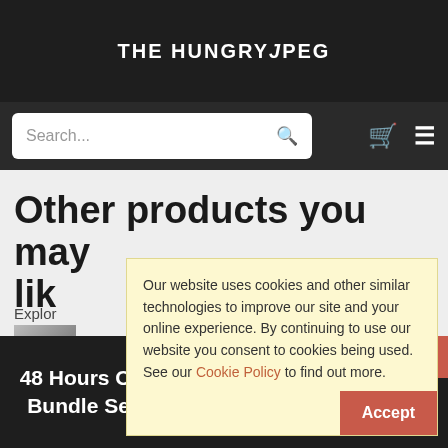THE HUNGRY JPEG
[Figure (screenshot): Navigation bar with search box, cart icon, and menu icon on dark background]
Other products you may like
Explore
Our website uses cookies and other similar technologies to improve our site and your online experience. By continuing to use our website you consent to cookies being used. See our Cookie Policy to find out more.
Accept
48 Hours Only! Get 20% Off The Font Bundle Season 1! Code: S1FONT20